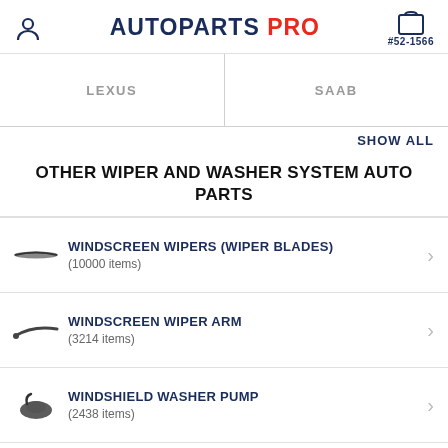AUTOPARTS PRO — #52-1566
| LEXUS | SAAB |
| --- | --- |
|   |   |
SHOW ALL
OTHER WIPER AND WASHER SYSTEM AUTO PARTS
WINDSCREEN WIPERS (WIPER BLADES) (10000 items)
WINDSCREEN WIPER ARM (3214 items)
WINDSHIELD WASHER PUMP (2438 items)